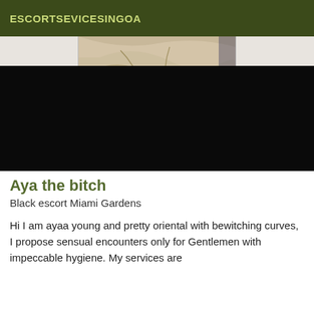ESCORTSEVICESINGOA
[Figure (photo): Crumpled white/beige cloth or fabric photographed on a surface, upper center portion of image visible. Below the photo is a large black rectangle.]
Aya the bitch
Black escort Miami Gardens
Hi I am ayaa young and pretty oriental with bewitching curves, I propose sensual encounters only for Gentlemen with impeccable hygiene. My services are